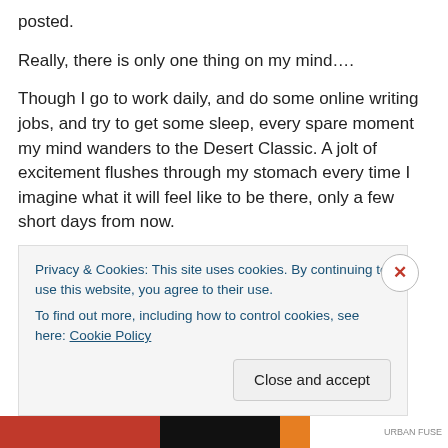posted.
Really, there is only one thing on my mind….
Though I go to work daily, and do some online writing jobs, and try to get some sleep, every spare moment my mind wanders to the Desert Classic. A jolt of excitement flushes through my stomach every time I imagine what it will feel like to be there, only a few short days from now.
But until then, there's a lot of work to do!
The dancing is pretty much where it is going to be. I am
Privacy & Cookies: This site uses cookies. By continuing to use this website, you agree to their use.
To find out more, including how to control cookies, see here: Cookie Policy
Close and accept